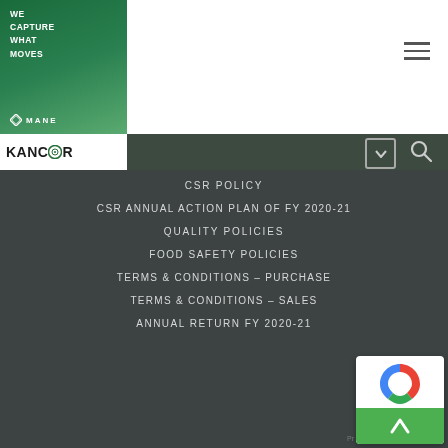[Figure (logo): Kancor/Mane logo with green gradient block. Top text: WE CAPTURE WHAT MOVES. Bottom: Mane logo with diamond icon and KANCOR wordmark.]
CSR POLICY
CSR ANNUAL ACTION PLAN OF FY 2020-21
QUALITY POLICIES
FOOD SAFETY POLICIES
TERMS & CONDITIONS – PURCHASE
TERMS & CONDITIONS – SALES
ANNUAL RETURN FY 2020-21